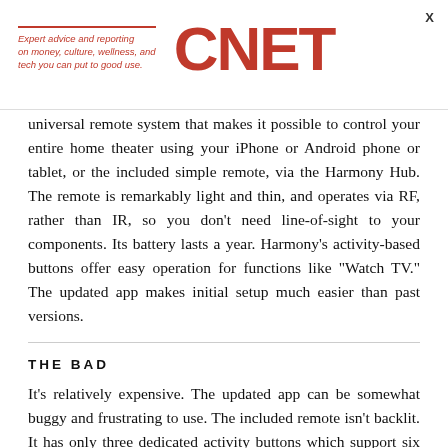Expert advice and reporting on money, culture, wellness, and tech you can put to good use. CNET
universal remote system that makes it possible to control your entire home theater using your iPhone or Android phone or tablet, or the included simple remote, via the Harmony Hub. The remote is remarkably light and thin, and operates via RF, rather than IR, so you don't need line-of-sight to your components. Its battery lasts a year. Harmony's activity-based buttons offer easy operation for functions like "Watch TV." The updated app makes initial setup much easier than past versions.
THE BAD
It's relatively expensive. The updated app can be somewhat buggy and frustrating to use. The included remote isn't backlit. It has only three dedicated activity buttons which support six activities, requiring a non-intuitive long-press for the secondary activities. The option to control your devices via a smartphone is